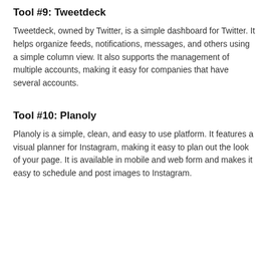Tool #9: Tweetdeck
Tweetdeck, owned by Twitter, is a simple dashboard for Twitter. It helps organize feeds, notifications, messages, and others using a simple column view. It also supports the management of multiple accounts, making it easy for companies that have several accounts.
Tool #10: Planoly
Planoly is a simple, clean, and easy to use platform. It features a visual planner for Instagram, making it easy to plan out the look of your page. It is available in mobile and web form and makes it easy to schedule and post images to Instagram.